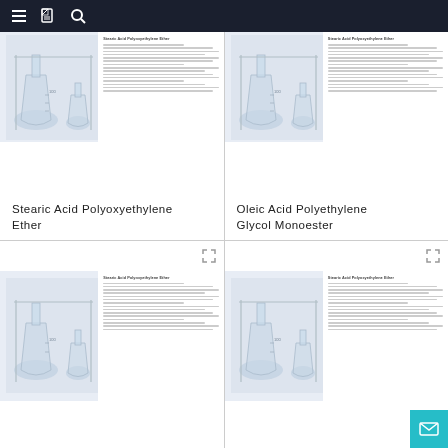Navigation bar with menu, document, and search icons
Stearic Acid Polyoxyethylene Ether
[Figure (photo): Laboratory glassware and chemical apparatus alongside a product document preview for Stearic Acid Polyoxyethylene Ether]
Oleic Acid Polyethylene Glycol Monoester
[Figure (photo): Laboratory glassware and chemical apparatus alongside a product document preview for Stearic Acid Polyoxyethylene Ether]
[Figure (photo): Laboratory glassware and chemical apparatus alongside a product document preview for Stearic Acid Polyoxyethylene Ether (bottom-left card, partially visible)]
[Figure (photo): Laboratory glassware and chemical apparatus alongside a product document preview for Stearic Acid Polyoxyethylene Ether (bottom-right card, partially visible)]